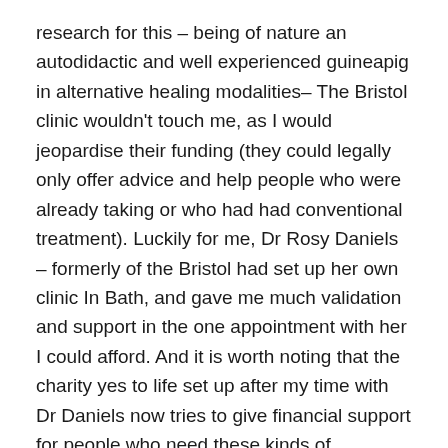research for this – being of nature an autodidactic and well experienced guineapig in alternative healing modalities– The Bristol clinic wouldn't touch me, as I would jeopardise their funding (they could legally only offer advice and help people who were already taking or who had had conventional treatment). Luckily for me, Dr Rosy Daniels – formerly of the Bristol had set up her own clinic In Bath, and gave me much validation and support in the one appointment with her I could afford. And it is worth noting that the charity yes to life set up after my time with Dr Daniels now tries to give financial support for people who need these kinds of appointments
Most people I know share the attitude: 'if I got cancer I would do whatever was necessary to get it out of my body as quickly as possible. Like I would want to fuck the